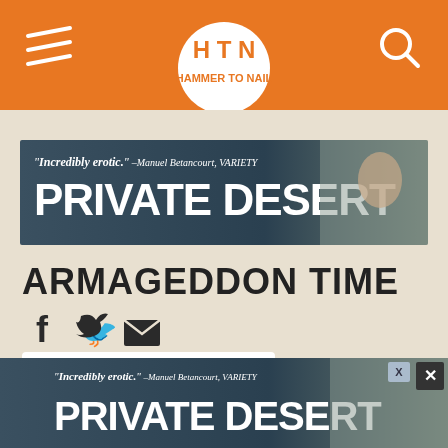[Figure (logo): HTN website header with orange background, hamburger menu icon on left, HTN logo in white circle at center, search icon on right]
[Figure (photo): Advertisement banner for 'Private Desert' - quote 'Incredibly erotic.' - Manuel Betancourt, VARIETY, large white bold text PRIVATE DESERT, person with eyes closed on right side]
ARMAGEDDON TIME
[Figure (illustration): Social share icons: Facebook, Twitter, Email]
By Jack Schenker / May 26, 2022 / 0 Comments
[Figure (photo): Second advertisement banner for 'Private Desert' with close buttons (X and filled box), same creative as top banner]